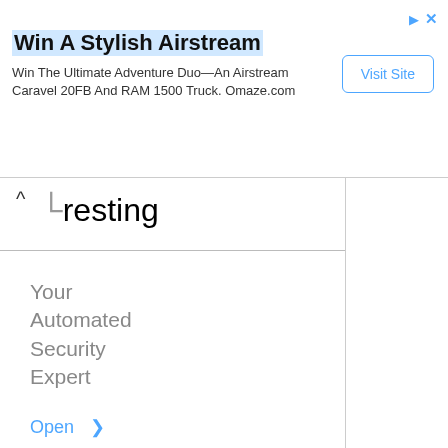[Figure (screenshot): Advertisement banner for Omaze/Airstream giveaway with Visit Site button]
resting
Your Automated Security Expert
www.code-intelligence.com
Open